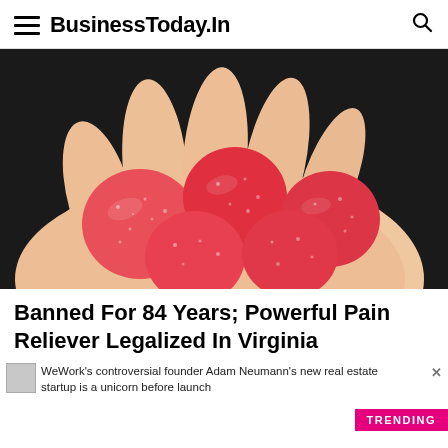BusinessToday.In
[Figure (photo): A hand holding several red sugary gummy candies against a dark background]
Banned For 84 Years; Powerful Pain Reliever Legalized In Virginia
WeWork's controversial founder Adam Neumann's new real estate startup is a unicorn before launch
TRENDING